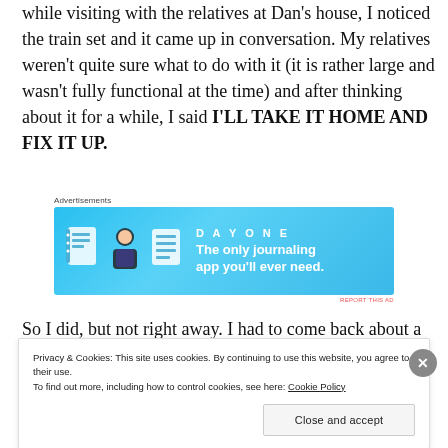while visiting with the relatives at Dan's house, I noticed the train set and it came up in conversation. My relatives weren't quite sure what to do with it (it is rather large and wasn't fully functional at the time) and after thinking about it for a while, I said I'LL TAKE IT HOME AND FIX IT UP.
[Figure (infographic): Day One journaling app advertisement: blue banner with app icons and text 'The only journaling app you'll ever need.']
So I did, but not right away. I had to come back about a
Privacy & Cookies: This site uses cookies. By continuing to use this website, you agree to their use. To find out more, including how to control cookies, see here: Cookie Policy
Close and accept